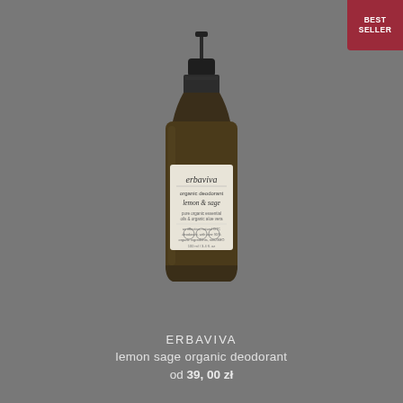[Figure (photo): Product photo of Erbaviva lemon sage organic deodorant spray bottle with black pump top, amber glass bottle, and white label, on gray background. Best seller badge in top right corner.]
ERBAVIVA
lemon sage organic deodorant
od 39,00 zł